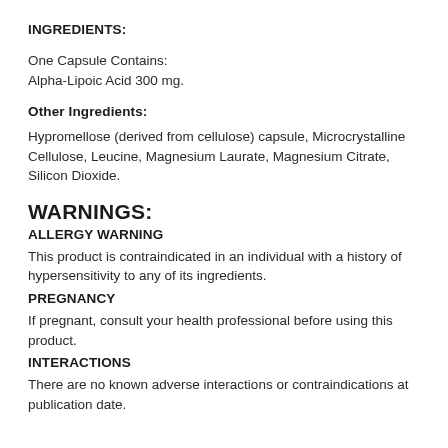INGREDIENTS:
One Capsule Contains:
Alpha-Lipoic Acid 300 mg.
Other Ingredients:
Hypromellose (derived from cellulose) capsule, Microcrystalline Cellulose, Leucine, Magnesium Laurate, Magnesium Citrate, Silicon Dioxide.
WARNINGS:
ALLERGY WARNING
This product is contraindicated in an individual with a history of hypersensitivity to any of its ingredients.
PREGNANCY
If pregnant, consult your health professional before using this product.
INTERACTIONS
There are no known adverse interactions or contraindications at publication date.